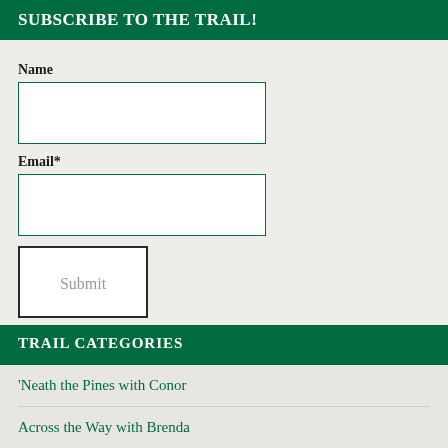SUBSCRIBE TO THE TRAIL!
Name
Email*
Submit
TRAIL CATEGORIES
'Neath the Pines with Conor
Across the Way with Brenda